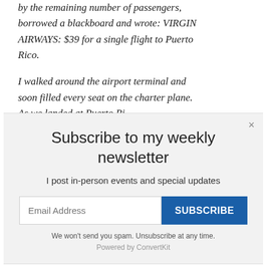by the remaining number of passengers, borrowed a blackboard and wrote: VIRGIN AIRWAYS: $39 for a single flight to Puerto Rico.
I walked around the airport terminal and soon filled every seat on the charter plane. As we landed at Puerto Ri...
Subscribe to my weekly newsletter
I post in-person events and special updates
We won't send you spam. Unsubscribe at any time.
Powered by ConvertKit